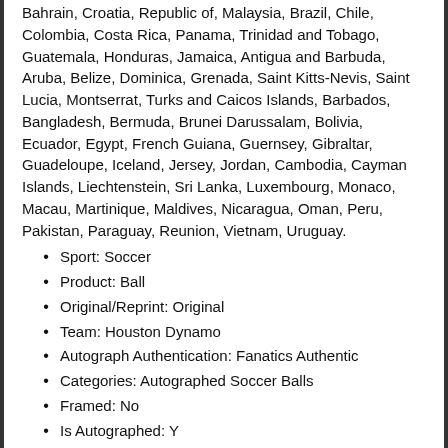Bahrain, Croatia, Republic of, Malaysia, Brazil, Chile, Colombia, Costa Rica, Panama, Trinidad and Tobago, Guatemala, Honduras, Jamaica, Antigua and Barbuda, Aruba, Belize, Dominica, Grenada, Saint Kitts-Nevis, Saint Lucia, Montserrat, Turks and Caicos Islands, Barbados, Bangladesh, Bermuda, Brunei Darussalam, Bolivia, Ecuador, Egypt, French Guiana, Guernsey, Gibraltar, Guadeloupe, Iceland, Jersey, Jordan, Cambodia, Cayman Islands, Liechtenstein, Sri Lanka, Luxembourg, Monaco, Macau, Martinique, Maldives, Nicaragua, Oman, Peru, Pakistan, Paraguay, Reunion, Vietnam, Uruguay.
Sport: Soccer
Product: Ball
Original/Reprint: Original
Team: Houston Dynamo
Autograph Authentication: Fanatics Authentic
Categories: Autographed Soccer Balls
Framed: No
Is Autographed: Y
Is Game Used: N
Product Type: Autographed Soccer Balls
Is Inscribed: No